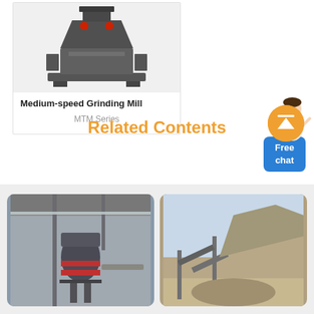[Figure (photo): Medium-speed Grinding Mill (MTM Series) product card with machine image on gray background]
Medium-speed Grinding Mill
MTM Series
[Figure (illustration): Customer service representative figure with Free chat button widget]
[Figure (illustration): Orange scroll-to-top circular button with upward arrow]
Related Contents
[Figure (photo): Industrial crushing/grinding equipment inside a factory building]
[Figure (photo): Outdoor quarry/mining site with conveyor belts and stone quarry hillside]